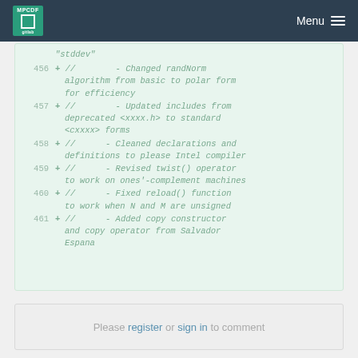MPCDF Menu
"stddev"
456 + //        - Changed randNorm algorithm from basic to polar form for efficiency
457 + //        - Updated includes from deprecated <xxxx.h> to standard <cxxxx> forms
458 + //        - Cleaned declarations and definitions to please Intel compiler
459 + //        - Revised twist() operator to work on ones'-complement machines
460 + //        - Fixed reload() function to work when N and M are unsigned
461 + //        - Added copy constructor and copy operator from Salvador Espana
Please register or sign in to comment